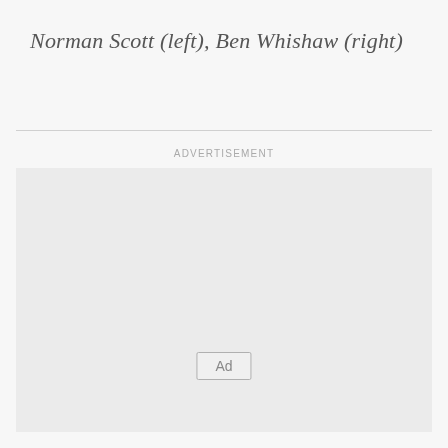Norman Scott (left), Ben Whishaw (right)
[Figure (other): Advertisement placeholder box with 'Ad' button label in the center-bottom area]